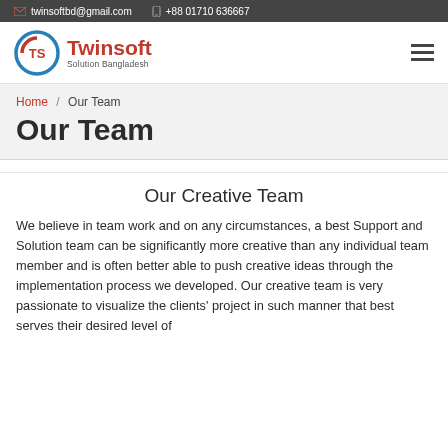twinsoftbd@gmail.com  +88 01710 636667
[Figure (logo): Twinsoft Solution Bangladesh logo with circular TS emblem in red and blue]
Home / Our Team
Our Team
Our Creative Team
We believe in team work and on any circumstances, a best Support and Solution team can be significantly more creative than any individual team member and is often better able to push creative ideas through the implementation process we developed. Our creative team is very passionate to visualize the clients' project in such manner that best serves their desired level of